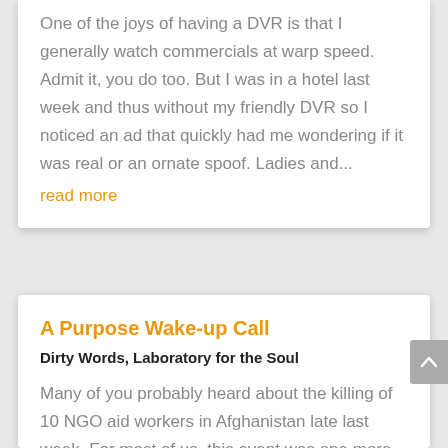One of the joys of having a DVR is that I generally watch commercials at warp speed.  Admit it, you do too. But I was in a hotel last week and thus without my friendly DVR so I noticed an ad that quickly had me wondering if it was real or an ornate spoof. Ladies and...
read more
A Purpose Wake-up Call
Dirty Words,  Laboratory for the Soul
Many of you probably heard about the killing of 10 NGO aid workers in Afghanistan late last week.  For most of us, this event was one more in a line of senseless deaths to which